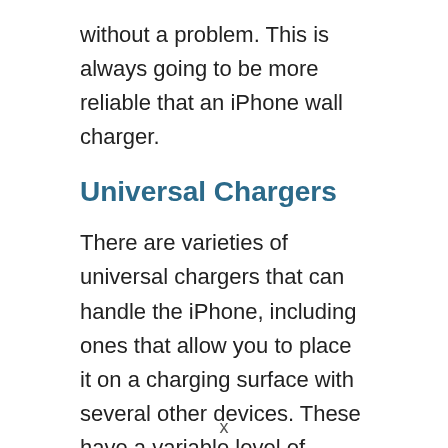without a problem. This is always going to be more reliable that an iPhone wall charger.
Universal Chargers
There are varieties of universal chargers that can handle the iPhone, including ones that allow you to place it on a charging surface with several other devices. These have a variable level of success so make sure that you find out the information on the third party device that you are thinking of buying. There is no universal rule for these
x